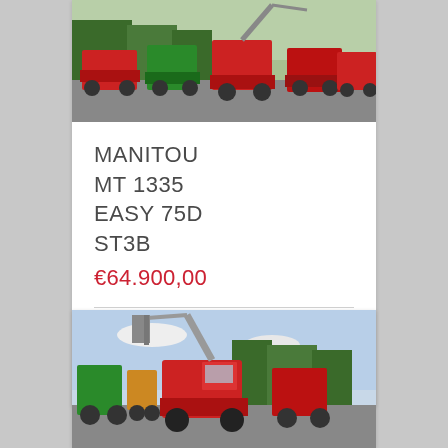[Figure (photo): Outdoor lot with multiple red and green Manitou telehandlers and other machinery parked on pavement with trees in background]
MANITOU MT 1335 EASY 75D ST3B
€64.900,00
Mehr info
[Figure (photo): Red Manitou telehandler with fork attachment raised, parked in outdoor equipment lot with other machinery and trees in background]